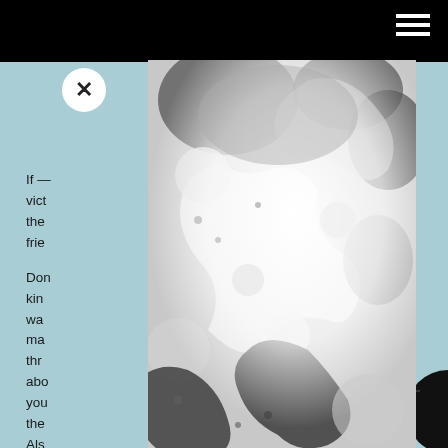[Figure (other): Hamburger menu icon (three white horizontal lines) in top-right corner on black bar]
[Figure (other): White circular close (X) button in upper-left area]
If — vict the al frie Don ur kin er wa ma ny, thr abo you — the Als nd Phy
[Figure (photo): Grayscale close-up photograph of puzzle pieces with a bright white radial glow/overexposure in center, overlaid as a modal/lightbox on top of the page content]